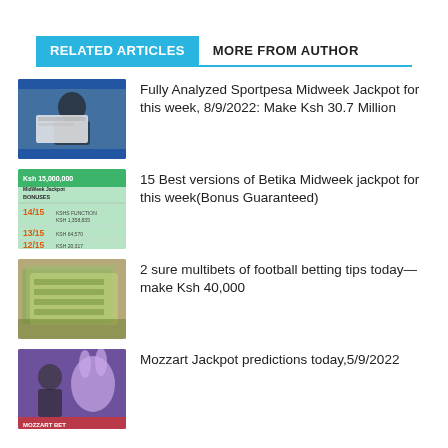RELATED ARTICLES
MORE FROM AUTHOR
Fully Analyzed Sportpesa Midweek Jackpot for this week, 8/9/2022: Make Ksh 30.7 Million
15 Best versions of Betika Midweek jackpot for this week(Bonus Guaranteed)
2 sure multibets of football betting tips today—make Ksh 40,000
Mozzart Jackpot predictions today,5/9/2022